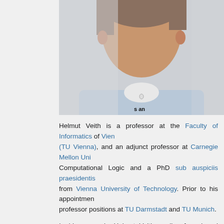[Figure (photo): Portrait photo of Helmut Veith, a man in a blue checked shirt, upper body visible against a light grey background]
Helmut Veith is a professor at the Faculty of Informatics of Vienna University of Technology (TU Vienna), and an adjunct professor at Carnegie Mellon University. He has a Habilitation in Computational Logic and a PhD sub auspiciis praesidentis (with highest distinction) from Vienna University of Technology. Prior to his appointment, he held professor positions at TU Darmstadt and TU Munich.
In his research, Helmut Veith applies formal and logical methods to computer science, technology and engineering. His current work is focusing on model checking, software verification and testing, embedded software and computer security.
Curriculum Vitae, April 2015
Publications in DBLP and Google scholar
Activities